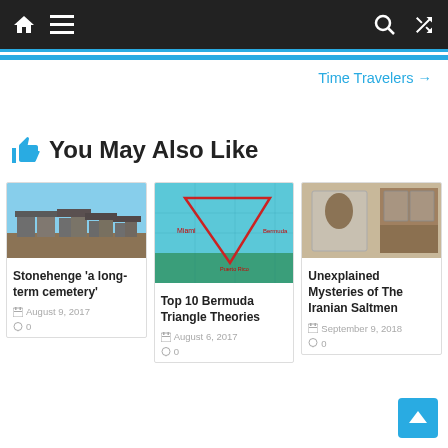Navigation bar with home, menu, search, and shuffle icons
Time Travelers →
👍 You May Also Like
[Figure (photo): Photo of Stonehenge stone monument under blue sky]
Stonehenge 'a long-term cemetery'
August 9, 2017
0
[Figure (photo): Map of the Bermuda Triangle with red triangle overlay]
Top 10 Bermuda Triangle Theories
August 6, 2017
0
[Figure (photo): Photo of the Iranian Saltmen preserved remains in display cases]
Unexplained Mysteries of The Iranian Saltmen
September 9, 2018
0